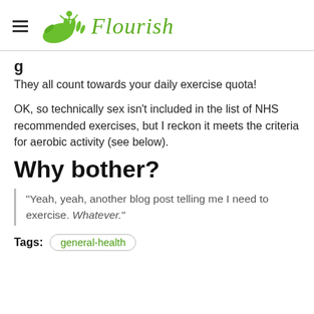Flourish
They all count towards your daily exercise quota!
OK, so technically sex isn't included in the list of NHS recommended exercises, but I reckon it meets the criteria for aerobic activity (see below).
Why bother?
"Yeah, yeah, another blog post telling me I need to exercise. Whatever."
Tags: general-health